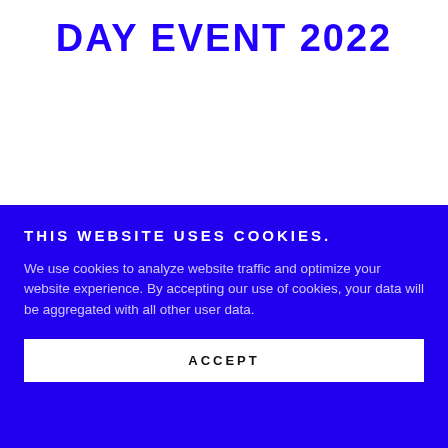DAY EVENT 2022
THIS WEBSITE USES COOKIES.
We use cookies to analyze website traffic and optimize your website experience. By accepting our use of cookies, your data will be aggregated with all other user data.
ACCEPT